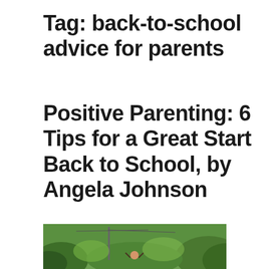Tag: back-to-school advice for parents
Positive Parenting: 6 Tips for a Great Start Back to School, by Angela Johnson
[Figure (photo): A photo of a child with arms raised joyfully outdoors with green trees and hills in the background, a utility pole visible on the left side.]